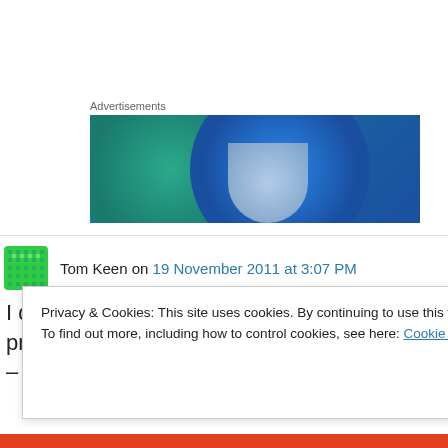Advertisements
[Figure (illustration): Advertisement banner with overlapping teal and blue circles on dark blue background]
Tom Keen on 19 November 2011 at 3:07 PM
I don't understand Lomborg's implied logic of promoting more R&D before we do anything – it
Privacy & Cookies: This site uses cookies. By continuing to use this website, you agree to their use.
To find out more, including how to control cookies, see here: Cookie Policy
Close and accept